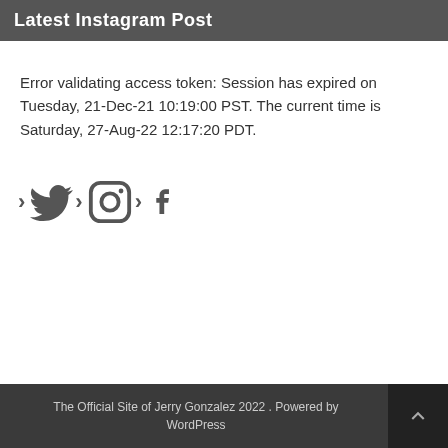Latest Instagram Post
Error validating access token: Session has expired on Tuesday, 21-Dec-21 10:19:00 PST. The current time is Saturday, 27-Aug-22 12:17:20 PDT.
[Figure (infographic): Social media icons: Twitter, Instagram, Facebook with chevron arrows between them]
The Official Site of Jerry Gonzalez 2022 . Powered by WordPress